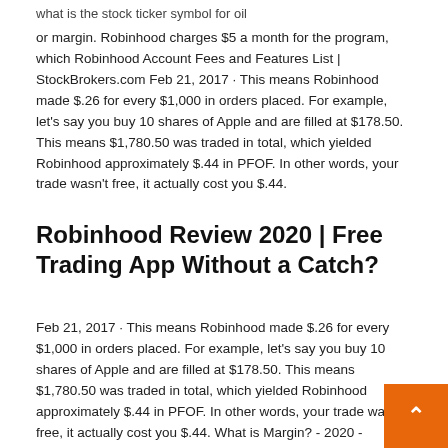what is the stock ticker symbol for oil
or margin. Robinhood charges $5 a month for the program, which Robinhood Account Fees and Features List | StockBrokers.com Feb 21, 2017 · This means Robinhood made $.26 for every $1,000 in orders placed. For example, let's say you buy 10 shares of Apple and are filled at $178.50. This means $1,780.50 was traded in total, which yielded Robinhood approximately $.44 in PFOF. In other words, your trade wasn't free, it actually cost you $.44.
Robinhood Review 2020 | Free Trading App Without a Catch?
Feb 21, 2017 · This means Robinhood made $.26 for every $1,000 in orders placed. For example, let's say you buy 10 shares of Apple and are filled at $178.50. This means $1,780.50 was traded in total, which yielded Robinhood approximately $.44 in PFOF. In other words, your trade wasn't free, it actually cost you $.44. What is Margin? - 2020 - Robinhood Margin can refer to many things in the world of finance. When it comes to